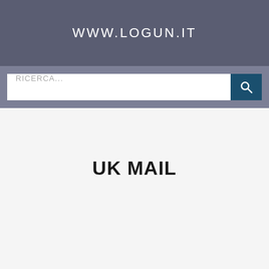WWW.LOGUN.IT
RICERCA...
UK MAIL
Questo sito Web utilizza i cookie per assicurarti la migliore esperienza sul nostro sito Web.